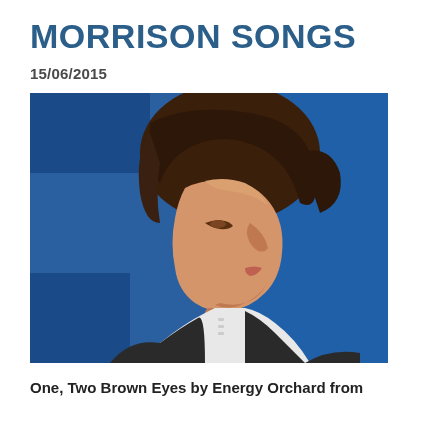MORRISON SONGS
15/06/2015
[Figure (illustration): Oil painting portrait of a young man with brown hair in profile view, wearing a white shirt and dark vest, against a blue background]
One, Two Brown Eyes by Energy Orchard from